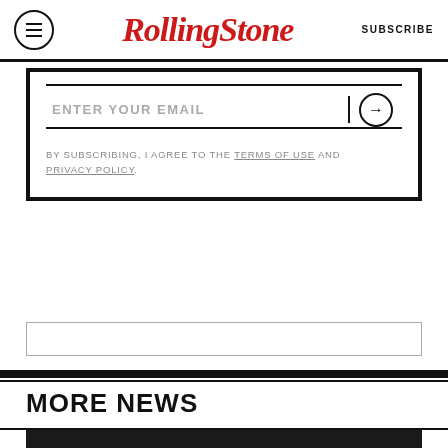RollingStone | SUBSCRIBE
ENTER YOUR EMAIL
BY SUBSCRIBING, I AGREE TO THE TERMS OF USE AND PRIVACY POLICY.
MORE NEWS